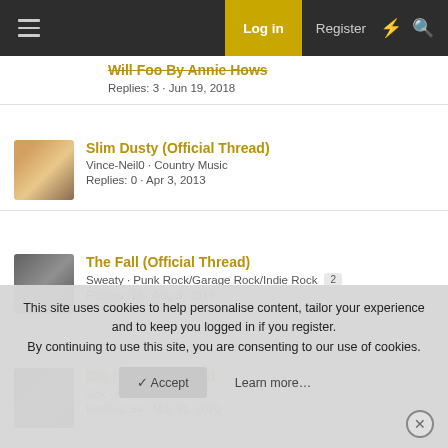Log in | Register
Will Foo By Annie Hows — Replies: 3 · Jun 19, 2018
Slim Dusty (Official Thread) — Vince-Neil0 · Country Music — Replies: 0 · Apr 3, 2013
The Fall (Official Thread) — Sweaty · Punk Rock/Garage Rock/Indie Rock [2] — Replies: 15 · Aug 9, 2019
Dio (Official Thread) — Sox · Metal [4] [5] [6] — Replies: 54 · Mar 31, 2020
This site uses cookies to help personalise content, tailor your experience and to keep you logged in if you register.
By continuing to use this site, you are consenting to our use of cookies.
Accept | Learn more...